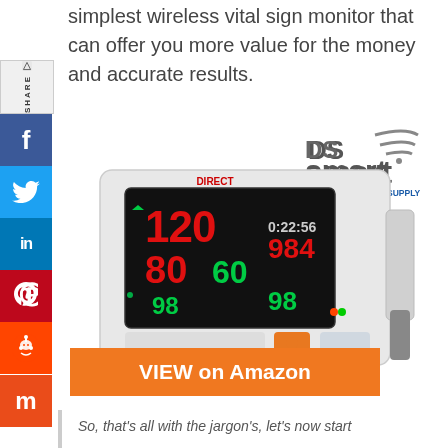simplest wireless vital sign monitor that can offer you more value for the money and accurate results.
[Figure (photo): DS Smart powered by Direct Supply logo in gray and blue with wifi signal icon]
[Figure (photo): Wireless vital sign monitor device (blood pressure monitor) showing digital display with readings: 120, 80, 60, 98, 984, 98, and time 0:22:56]
VIEW on Amazon
So, that's all with the jargon's, let's now start